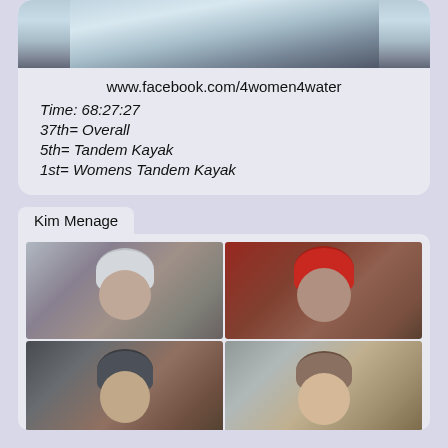[Figure (photo): Top portion of a water/kayaking photo card showing water surface image cropped at top]
www.facebook.com/4women4water
Time: 68:27:27
37th= Overall
5th= Tandem Kayak
1st= Womens Tandem Kayak
Kim Menage
[Figure (photo): 2x2 grid of four close-up photos of women wearing kayaking helmets]